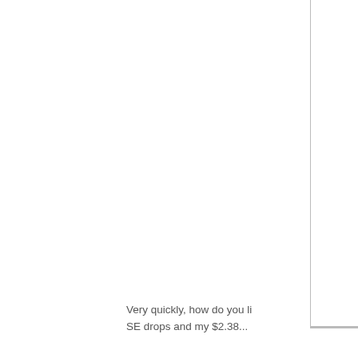[Figure (other): White rectangular panel with a thin border on the right side of the page, occupying the upper right portion]
Very quickly, how do you li
SE drops and my $2.38...